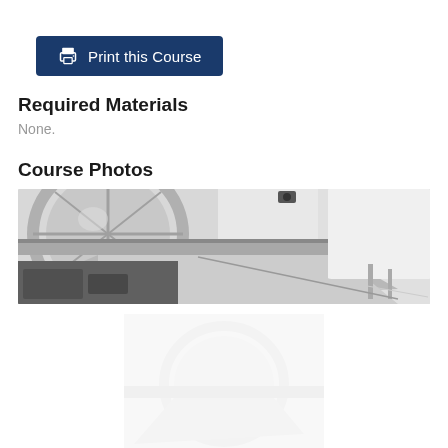Print this Course
Required Materials
None.
Course Photos
[Figure (photo): Industrial HVAC ductwork and piping system viewed from below, showing large circular and rectangular silver metal ducts, white walls, and mechanical components in what appears to be a commercial kitchen or industrial facility.]
[Figure (photo): Partially visible faded/watermarked image below the main course photo, appearing to show similar industrial equipment.]